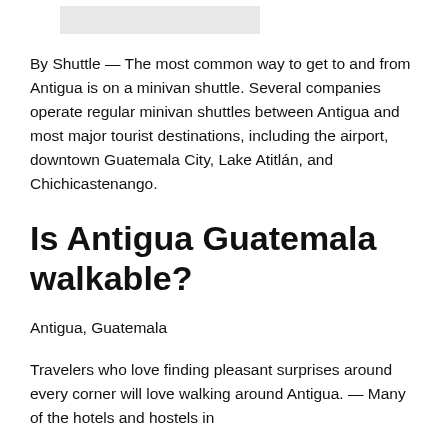[Figure (other): Small image placeholder at the top of the page]
By Shuttle — The most common way to get to and from Antigua is on a minivan shuttle. Several companies operate regular minivan shuttles between Antigua and most major tourist destinations, including the airport, downtown Guatemala City, Lake Atitlán, and Chichicastenango.
Is Antigua Guatemala walkable?
Antigua, Guatemala
Travelers who love finding pleasant surprises around every corner will love walking around Antigua. — Many of the hotels and hostels in